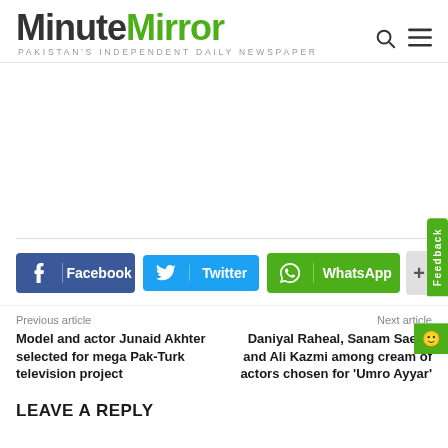MinuteMirror — PAKISTAN'S INDEPENDENT DAILY NEWSPAPER
[Figure (other): Advertisement area (blank/white space)]
Facebook  Twitter  WhatsApp
Previous article
Model and actor Junaid Akhter selected for mega Pak-Turk television project
Next article
Daniyal Raheal, Sanam Saeed and Ali Kazmi among cream of actors chosen for 'Umro Ayyar'
LEAVE A REPLY